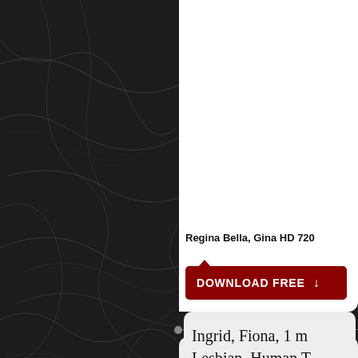[Figure (photo): Dark black marble texture background with white veining lines across the surface, covering the left half and lower right portion of the page.]
Regina Bella, Gina HD 720
DOWNLOAD FREE
Ingrid, Fiona, 1 m
Lesbian, Human T